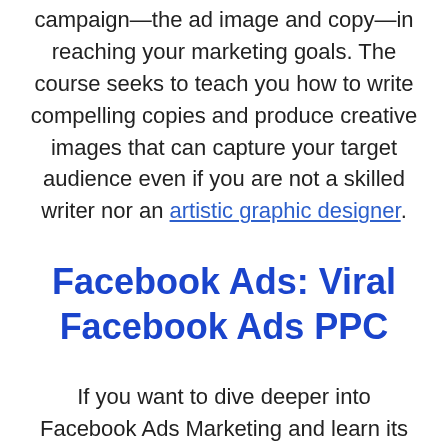campaign—the ad image and copy—in reaching your marketing goals. The course seeks to teach you how to write compelling copies and produce creative images that can capture your target audience even if you are not a skilled writer nor an artistic graphic designer.
Facebook Ads: Viral Facebook Ads PPC
If you want to dive deeper into Facebook Ads Marketing and learn its secret techniques to get cheap traffic, this course is the one for you. Expect by the end of the course to have acquainted with: the top-secret hacks to get low-cost clicks with